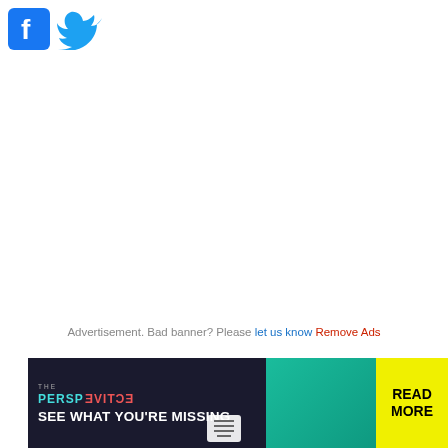[Figure (logo): Facebook and Twitter social media icons side by side]
Advertisement. Bad banner? Please let us know Remove Ads
References in periodicals archive
[Figure (infographic): The Perspective advertisement banner: 'SEE WHAT YOU'RE MISSING' with READ MORE button]